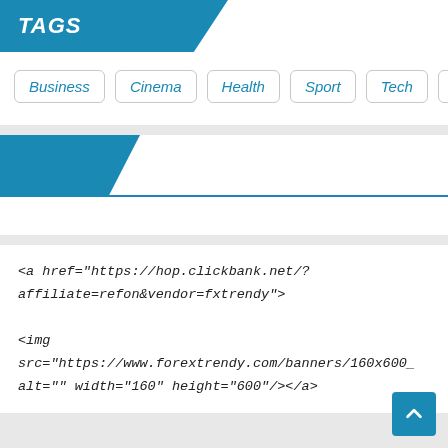TAGS
Business
Cinema
Health
Sport
Tech
Travel
Wo…
<a href="https://hop.clickbank.net/?
affiliate=refon&vendor=fxtrendy">

<img
src="https://www.forextrendy.com/banners/160x600_
alt="" width="160" height="600"/></a>